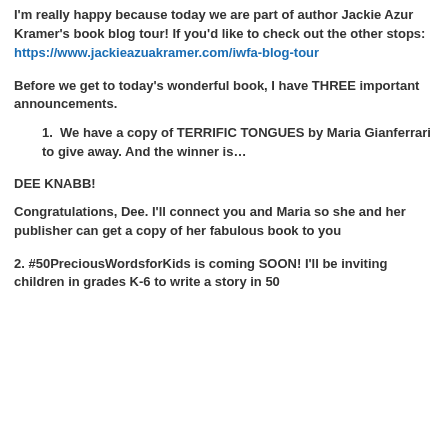I'm really happy because today we are part of author Jackie Azur Kramer's book blog tour! If you'd like to check out the other stops: https://www.jackieazuakramer.com/iwfa-blog-tour
Before we get to today's wonderful book, I have THREE important announcements.
We have a copy of TERRIFIC TONGUES by Maria Gianferrari to give away. And the winner is…
DEE KNABB!
Congratulations, Dee. I'll connect you and Maria so she and her publisher can get a copy of her fabulous book to you
2. #50PreciousWordsforKids is coming SOON! I'll be inviting children in grades K-6 to write a story in 50